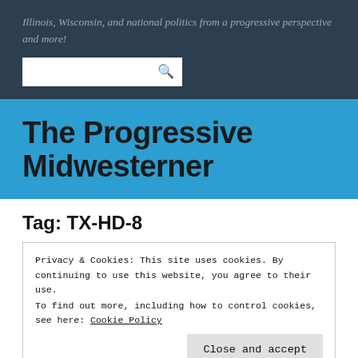Illinois, Wisconsin, and national politics from a progressive perspective and more!
The Progressive Midwesterner
Tag: TX-HD-8
Privacy & Cookies: This site uses cookies. By continuing to use this website, you agree to their use.
To find out more, including how to control cookies, see here: Cookie Policy
Close and accept
Paxton indicted on securities fraud